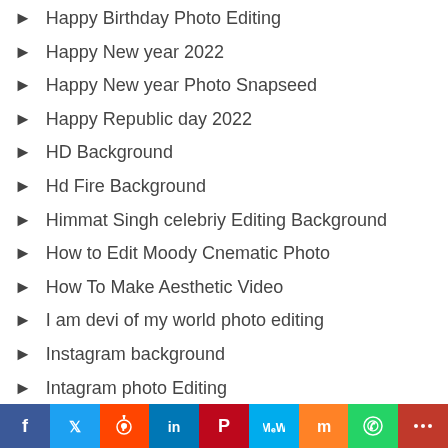Happy Birthday Photo Editing
Happy New year 2022
Happy New year Photo Snapseed
Happy Republic day 2022
HD Background
Hd Fire Background
Himmat Singh celebriy Editing Background
How to Edit Moody Cnematic Photo
How To Make Aesthetic Video
I am devi of my world photo editing
Instagram background
Intagram photo Editing
[Figure (infographic): Social sharing bar with icons: Facebook, Twitter, Reddit, LinkedIn, Pinterest, MeWe, Mix, WhatsApp, More]